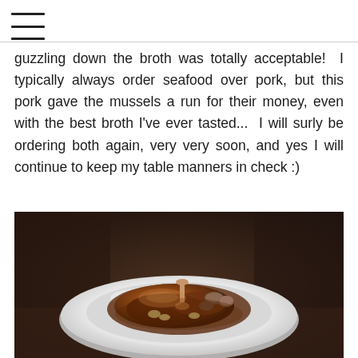guzzling down the broth was totally acceptable!  I typically always order seafood over pork, but this pork gave the mussels a run for their money, even with the best broth I've ever tasted...  I will surly be ordering both again, very very soon, and yes I will continue to keep my table manners in check :)
[Figure (photo): A roasted meat dish (appears to be pork or chicken) with mushrooms served on a large white plate, photographed in a restaurant setting with dark background.]